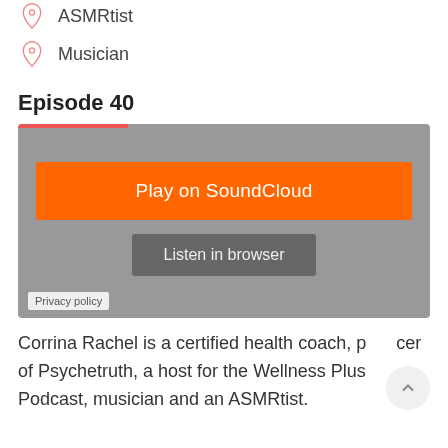ASMRtist
Musician
Episode 40
[Figure (screenshot): SoundCloud embedded player with orange 'Play on SoundCloud' button and 'Listen in browser' button on grey background]
Corrina Rachel is a certified health coach, p cer of Psychetruth, a host for the Wellness Plus Podcast, musician and an ASMRtist.